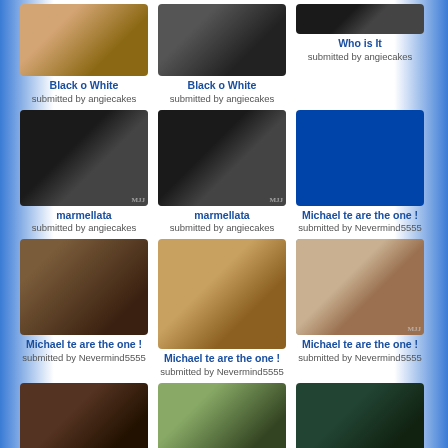[Figure (photo): Michael Jackson in black pants near horse - Black o White]
Black o White
submitted by angiecakes
[Figure (photo): Michael Jackson performing - Black o White]
Black o White
submitted by angiecakes
[Figure (photo): Small MJJ logo/image - Who is It]
Who is It
submitted by angiecakes
[Figure (photo): Michael Jackson dancing arms up black and white - marmellata]
marmellata
submitted by angiecakes
[Figure (photo): Michael Jackson dancing arms up black and white - marmellata]
marmellata
submitted by angiecakes
[Figure (photo): Michael Jackson portrait blue background - Michael te are the one!]
Michael te are the one !
submitted by Nevermind5555
[Figure (photo): Michael Jackson with fans kneeling - Michael te are the one!]
Michael te are the one !
submitted by Nevermind5555
[Figure (photo): Michael Jackson with woman in white - Michael te are the one!]
Michael te are the one !
submitted by Nevermind5555
[Figure (photo): Michael Jackson with family group - Michael te are the one!]
Michael te are the one !
submitted by Nevermind5555
[Figure (photo): Michael Jackson portrait dark - bottom row]
[Figure (photo): Michael Jackson blowing dandelion outdoors - bottom row]
[Figure (photo): Michael Jackson in red outfit - bottom row]